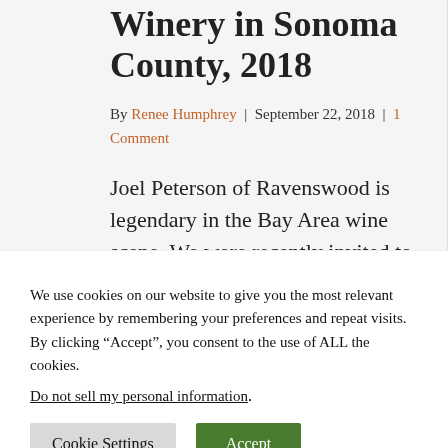Winery in Sonoma County, 2018
By Renee Humphrey | September 22, 2018 | 1 Comment
Joel Peterson of Ravenswood is legendary in the Bay Area wine scene. We were recently invited to tour the winery and
We use cookies on our website to give you the most relevant experience by remembering your preferences and repeat visits. By clicking “Accept”, you consent to the use of ALL the cookies.
Do not sell my personal information.